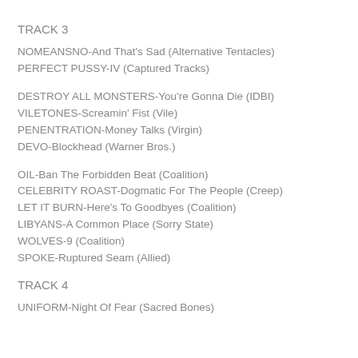TRACK 3
NOMEANSNO-And That's Sad (Alternative Tentacles)
PERFECT PUSSY-IV (Captured Tracks)
DESTROY ALL MONSTERS-You're Gonna Die (IDBI)
VILETONES-Screamin' Fist (Vile)
PENENTRATION-Money Talks (Virgin)
DEVO-Blockhead (Warner Bros.)
OIL-Ban The Forbidden Beat (Coalition)
CELEBRITY ROAST-Dogmatic For The People (Creep)
LET IT BURN-Here's To Goodbyes (Coalition)
LIBYANS-A Common Place (Sorry State)
WOLVES-9 (Coalition)
SPOKE-Ruptured Seam (Allied)
TRACK 4
UNIFORM-Night Of Fear (Sacred Bones)